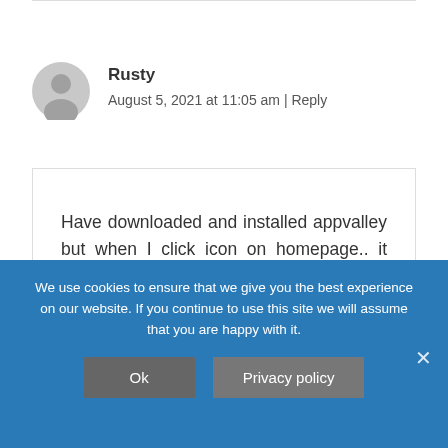[Figure (illustration): Gray circular avatar/user icon placeholder]
Rusty
August 5, 2021 at 11:05 am | Reply
Have downloaded and installed appvalley but when I click icon on homepage.. it comes up with a frozen screen that will not do anything. Please help...
We use cookies to ensure that we give you the best experience on our website. If you continue to use this site we will assume that you are happy with it.